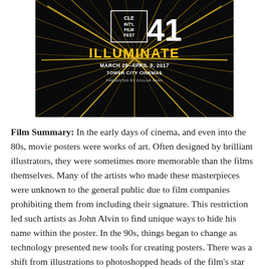[Figure (illustration): Cleveland International Film Festival 41 promotional poster. Black background with gold/yellow light rays radiating outward. White text reads CLE INT'L FILM FEST 41. Yellow text reads ILLUMINATE. White text reads MARCH 29-APRIL 9, 2017 / TOWER CITY CINEMAS / PRESENTED BY DOLLAR BANK.]
Film Summary:  In the early days of cinema, and even into the 80s, movie posters were works of art. Often designed by brilliant illustrators, they were sometimes more memorable than the films themselves. Many of the artists who made these masterpieces were unknown to the general public due to film companies prohibiting them from including their signature. This restriction led such artists as John Alvin to find unique ways to hide his name within the poster. In the 90s, things began to change as technology presented new tools for creating posters. There was a shift from illustrations to photoshopped heads of the film's star